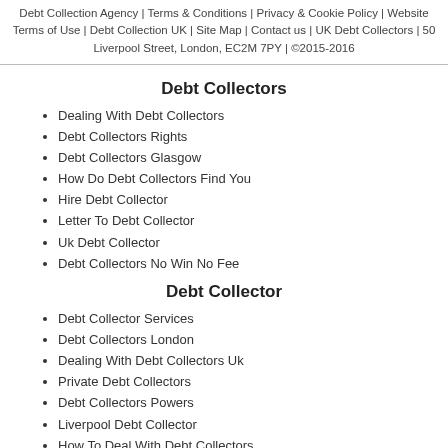Debt Collection Agency | Terms & Conditions | Privacy & Cookie Policy | Website Terms of Use | Debt Collection UK | Site Map | Contact us | UK Debt Collectors | 50 Liverpool Street, London, EC2M 7PY | ©2015-2016
Debt Collectors
Dealing With Debt Collectors
Debt Collectors Rights
Debt Collectors Glasgow
How Do Debt Collectors Find You
Hire Debt Collector
Letter To Debt Collector
Uk Debt Collector
Debt Collectors No Win No Fee
Debt Collector
Debt Collector Services
Debt Collectors London
Dealing With Debt Collectors Uk
Private Debt Collectors
Debt Collectors Powers
Liverpool Debt Collector
How To Deal With Debt Collectors
Debt Collectors Articles
Debt Collectors Manchester
How To Become A Debt Collector
What To Do About Debt Collectors